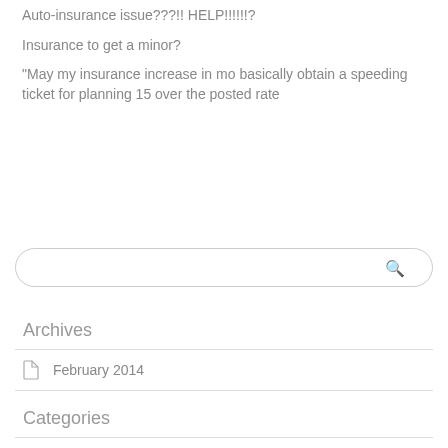Auto-insurance issue???!! HELP!!!!!!?
Insurance to get a minor?
“May my insurance increase in mo basically obtain a speeding ticket for planning 15 over the posted rate
Archives
February 2014
Categories